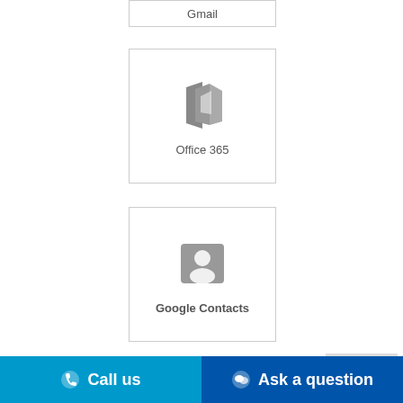[Figure (screenshot): Gmail integration card (partial, top of page) with text 'Gmail']
[Figure (screenshot): Office 365 integration card with Office 365 icon and label 'Office 365']
[Figure (screenshot): Google Contacts integration card with contacts icon and label 'Google Contacts']
Top ∧
Call us   Ask a question